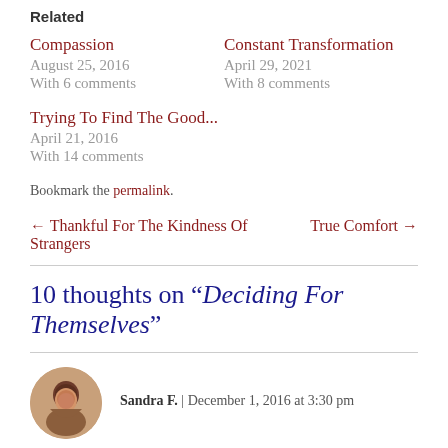Related
Compassion
August 25, 2016
With 6 comments
Constant Transformation
April 29, 2021
With 8 comments
Trying To Find The Good...
April 21, 2016
With 14 comments
Bookmark the permalink.
← Thankful For The Kindness Of Strangers
True Comfort →
10 thoughts on "Deciding For Themselves"
Sandra F. | December 1, 2016 at 3:30 pm